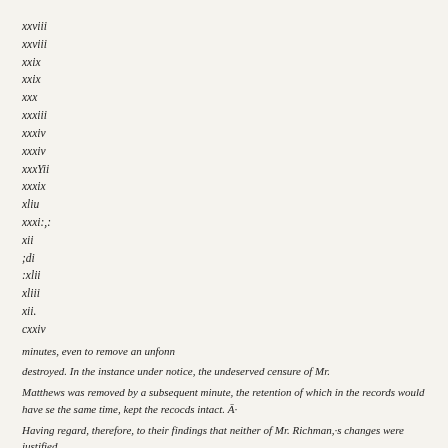xxviii
xxviii
xxix
xxix
xxx
xxxiii
xxxiv
xxxiv
xxxYii
xxxix
xliu
xxxi:,:
xii
;di
:xlii
xliii
xii.
cxxiv
minutes, even to remove an unfonn
destroyed. In the instance under notice, the undeserved censure of Mr.
Matthews was removed by a subsequent minute, the retention of which in the records would have se the same time, kept the recocds intact. Ā·
Having regard, therefore, to their findings that neither of Mr. Richman,·s changes were justified...